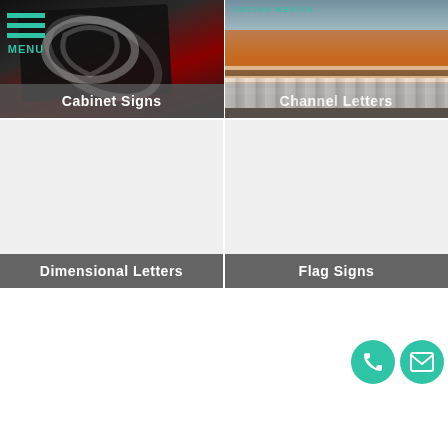[Figure (screenshot): Navigation menu icon with three teal horizontal bars and MENU label]
[Figure (photo): Photo of a cabinet sign with dark background and circular logo]
Cabinet Signs
[Figure (photo): Photo of channel letters spelling COCINA MEXICANA on a restaurant exterior]
Channel Letters
[Figure (photo): Dimensional Letters sign product category image (mostly blank)]
Dimensional Letters
[Figure (photo): Flag Signs sign product category image (mostly blank)]
Flag Signs
[Figure (other): Teal phone icon circle and teal email envelope icon circle for contact]